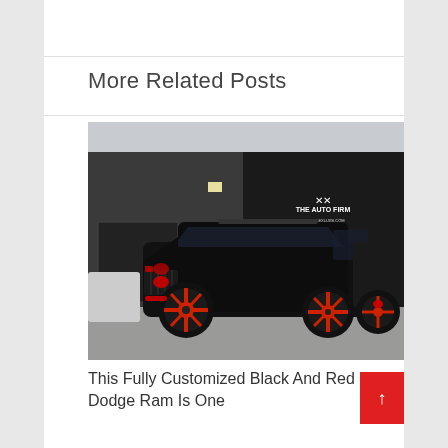More Related Posts
[Figure (photo): A fully customized black and red Dodge Ram pickup truck parked outside The Auto Firm dealership, featuring red-accented wheels and red LED lighting details.]
This Fully Customized Black And Red Dodge Ram Is One